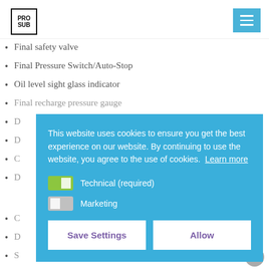PRO SUB
Final safety valve
Final Pressure Switch/Auto-Stop
Oil level sight glass indicator
Final recharge pressure gauge
[Figure (other): Cookie consent overlay with text: 'This website uses cookies to ensure you get the best experience on our website. By continuing to use the website, you agree to the use of cookies. Learn more'. Toggle switches for Technical (required) and Marketing. Save Settings and Allow buttons.]
Oil Capacity 1,7 Liter / 55 oz